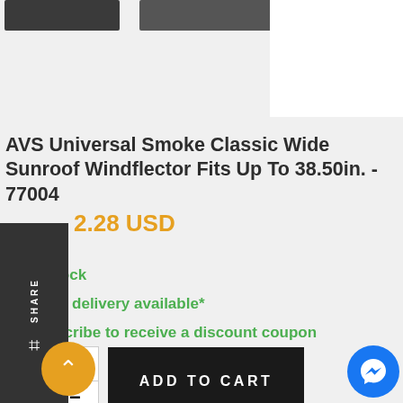[Figure (screenshot): Top portion of product images (partial, cropped at top)]
AVS Universal Smoke Classic Wide Sunroof Windflector Fits Up To 38.50in. - 77004
2.28 USD
In Stock
FREE delivery available*
Subscribe to receive a discount coupon
ADD TO CART